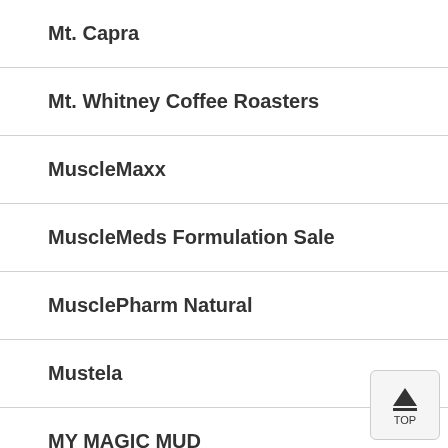Mt. Capra
Mt. Whitney Coffee Roasters
MuscleMaxx
MuscleMeds Formulation Sale
MusclePharm Natural
Mustela
MY MAGIC MUD
MyChelle Dermaceuticals